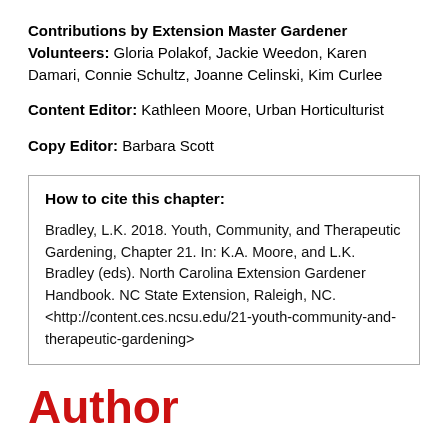Contributions by Extension Master Gardener Volunteers: Gloria Polakof, Jackie Weedon, Karen Damari, Connie Schultz, Joanne Celinski, Kim Curlee
Content Editor: Kathleen Moore, Urban Horticulturist
Copy Editor: Barbara Scott
How to cite this chapter:
Bradley, L.K. 2018. Youth, Community, and Therapeutic Gardening, Chapter 21. In: K.A. Moore, and L.K. Bradley (eds). North Carolina Extension Gardener Handbook. NC State Extension, Raleigh, NC. <http://content.ces.ncsu.edu/21-youth-community-and-therapeutic-gardening>
Author